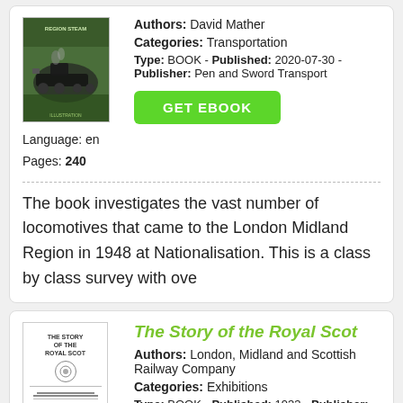[Figure (photo): Book cover for a steam locomotive book, green background with a steam train]
Language: en
Pages: 240
Authors: David Mather
Categories: Transportation
Type: BOOK - Published: 2020-07-30 - Publisher: Pen and Sword Transport
GET EBOOK
The book investigates the vast number of locomotives that came to the London Midland Region in 1948 at Nationalisation. This is a class by class survey with ove
The Story of the Royal Scot
[Figure (photo): Cover of 'The Story of the Royal Scot' book, black and white text cover]
Language: en
Authors: London, Midland and Scottish Railway Company
Categories: Exhibitions
Type: BOOK - Published: 1933 - Publisher: